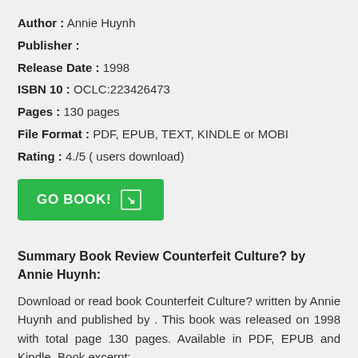Author : Annie Huynh
Publisher :
Release Date : 1998
ISBN 10 : OCLC:223426473
Pages : 130 pages
File Format : PDF, EPUB, TEXT, KINDLE or MOBI
Rating : 4./5 ( users download)
[Figure (other): Green GO BOOK! button with arrow icon]
Summary Book Review Counterfeit Culture? by Annie Huynh:
Download or read book Counterfeit Culture? written by Annie Huynh and published by . This book was released on 1998 with total page 130 pages. Available in PDF, EPUB and Kindle. Book excerpt: